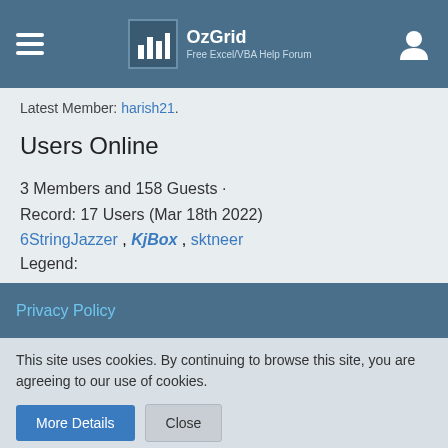OzGrid - Free Excel/VBA Help Forum
Latest Member: harish21.
Users Online
3 Members and 158 Guests · Record: 17 Users (Mar 18th 2022)
6StringJazzer, KjBox, sktneer
Legend:
Administrators, Super Moderators, Moderators, OzMVP, OzVIP, OzWizard
Privacy Policy
This site uses cookies. By continuing to browse this site, you are agreeing to our use of cookies.